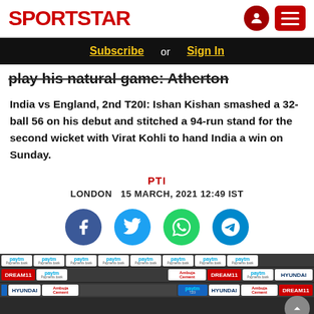SPORTSTAR
Subscribe or Sign In
play his natural game: Atherton
India vs England, 2nd T20I: Ishan Kishan smashed a 32-ball 56 on his debut and stitched a 94-run stand for the second wicket with Virat Kohli to hand India a win on Sunday.
PTI
LONDON   15 MARCH, 2021 12:49 IST
[Figure (photo): Photo of Virat Kohli and Ishan Kishan at press conference with Paytm, Dream11, Ambuja Cement, Hyundai sponsor banners in the background]